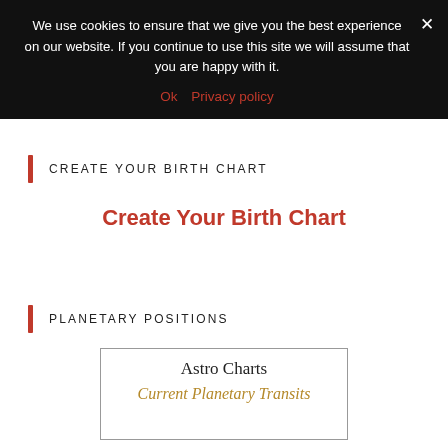We use cookies to ensure that we give you the best experience on our website. If you continue to use this site we will assume that you are happy with it. Ok Privacy policy
CREATE YOUR BIRTH CHART
Create Your Birth Chart
PLANETARY POSITIONS
[Figure (screenshot): Astro Charts logo with 'Current Planetary Transits' text in a bordered box]